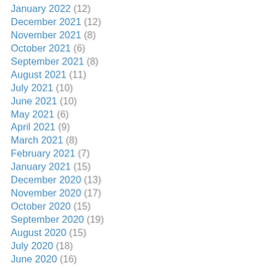January 2022 (12)
December 2021 (12)
November 2021 (8)
October 2021 (6)
September 2021 (8)
August 2021 (11)
July 2021 (10)
June 2021 (10)
May 2021 (6)
April 2021 (9)
March 2021 (8)
February 2021 (7)
January 2021 (15)
December 2020 (13)
November 2020 (17)
October 2020 (15)
September 2020 (19)
August 2020 (15)
July 2020 (18)
June 2020 (16)